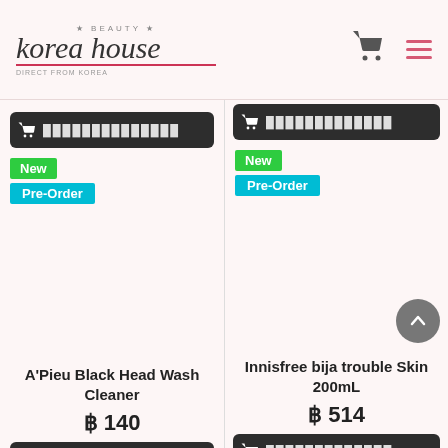* BEAUTY * korea house DIRECT FROM KOREA
[Figure (screenshot): Add to cart button (dark) with cart icon and Thai text squares - left product, partially visible from previous scroll]
[Figure (screenshot): Add to cart button (dark) with cart icon and Thai text squares - right product, partially visible from previous scroll]
New
Pre-Order
New
Pre-Order
A'Pieu Black Head Wash Cleaner
฿ 140
Innisfree bija trouble Skin 200mL
฿ 514